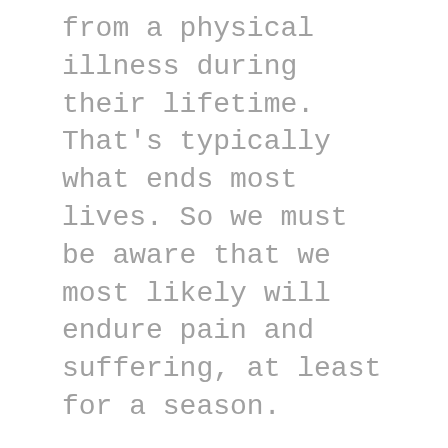from a physical illness during their lifetime. That's typically what ends most lives. So we must be aware that we most likely will endure pain and suffering, at least for a season.
Spiritual illness. Some don't ever stop and consider that they must care for their soul. The one part of each person that will live forever. The soul will live for eternity. And each of us has a choice as to where our soul will spend eternity. Heaven or hell.
Let's think about this.
God created our human bodies. He created us in his image. What does that mean? After all, he doesn't have a human body. He can't die. He is perfect. He has always lived and will always live. He created the